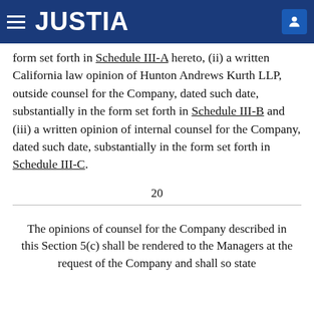JUSTIA
form set forth in Schedule III-A hereto, (ii) a written California law opinion of Hunton Andrews Kurth LLP, outside counsel for the Company, dated such date, substantially in the form set forth in Schedule III-B and (iii) a written opinion of internal counsel for the Company, dated such date, substantially in the form set forth in Schedule III-C.
20
The opinions of counsel for the Company described in this Section 5(c) shall be rendered to the Managers at the request of the Company and shall so state